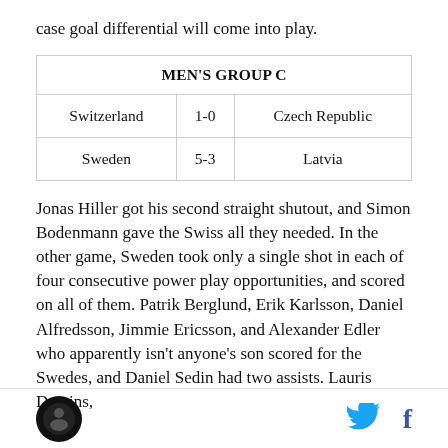case goal differential will come into play.
| MEN'S GROUP C |  |  |
| --- | --- | --- |
| Switzerland | 1-0 | Czech Republic |
| Sweden | 5-3 | Latvia |
Jonas Hiller got his second straight shutout, and Simon Bodenmann gave the Swiss all they needed. In the other game, Sweden took only a single shot in each of four consecutive power play opportunities, and scored on all of them. Patrik Berglund, Erik Karlsson, Daniel Alfredsson, Jimmie Ericsson, and Alexander Edler who apparently isn't anyone's son scored for the Swedes, and Daniel Sedin had two assists. Lauris Darzins,
Logo | Twitter | Facebook